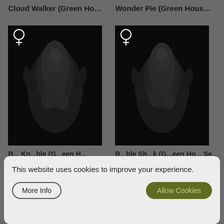Cloud Walker (Green House S...
€13.00
[Figure (photo): Dark image of a cannabis plant bud with female symbol (♀) in top left corner, on black background]
Wonder Pie (Green House Se...
€14.00
[Figure (photo): Dark image of a cannabis plant bud with female symbol (♀) in top left corner, on black background]
B... Kn...ble (G...een H...
B...ble Sh...k (G...een Ho... Se...
This website uses cookies to improve your experience.
More Info
Allow Cookies